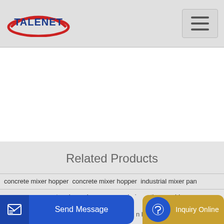TALENET
[Figure (logo): Talenet logo with red oval swoosh and blue text 'TALENET']
Related Products
concrete mixer hopper concrete mixer hopper industrial mixer pan
concrete mixer price cameroon boloneytimemachine
Send Message
Inquiry Online